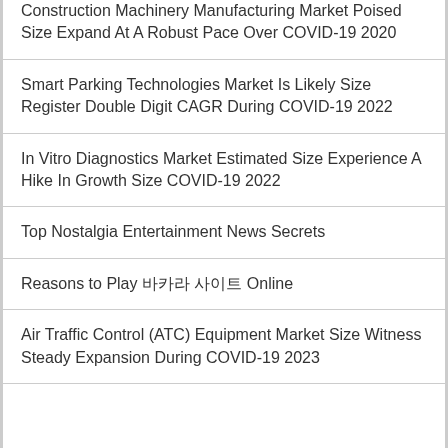Construction Machinery Manufacturing Market Poised Size Expand At A Robust Pace Over COVID-19 2020
Smart Parking Technologies Market Is Likely Size Register Double Digit CAGR During COVID-19 2022
In Vitro Diagnostics Market Estimated Size Experience A Hike In Growth Size COVID-19 2022
Top Nostalgia Entertainment News Secrets
Reasons to Play 바카라 사이트 Online
Air Traffic Control (ATC) Equipment Market Size Witness Steady Expansion During COVID-19 2023